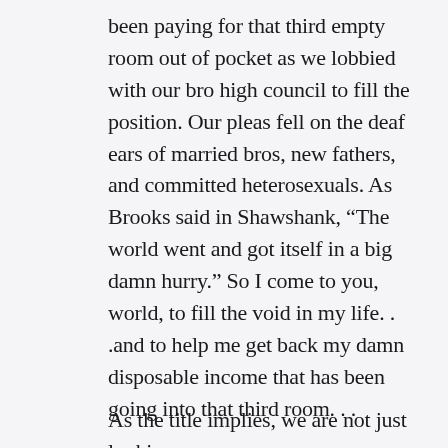been paying for that third empty room out of pocket as we lobbied with our bro high council to fill the position. Our pleas fell on the deaf ears of married bros, new fathers, and committed heterosexuals. As Brooks said in Shawshank, “The world went and got itself in a big damn hurry.” So I come to you, world, to fill the void in my life. . .and to help me get back my damn disposable income that has been going into that third room. . .
As the title implies, we are not just looking